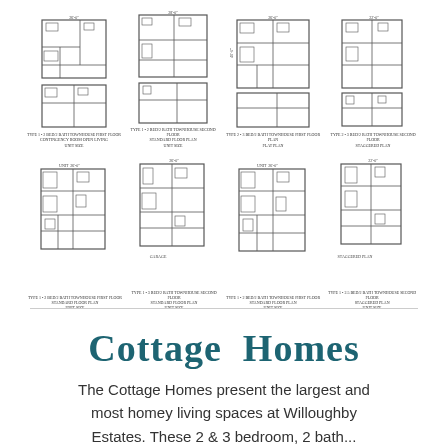[Figure (engineering-diagram): Eight townhouse/cottage floor plan diagrams arranged in two rows of four. Top row: two floor plans on left side and two on right side. Bottom row: two floor plans on left side and two on right side. Each plan shows first floor and second floor layouts with room labels and dimensions. Small text captions appear beneath each plan.]
Cottage Homes
The Cottage Homes present the largest and most homey living spaces at Willoughby Estates. These 2 & 3 bedroom, 2 bath...